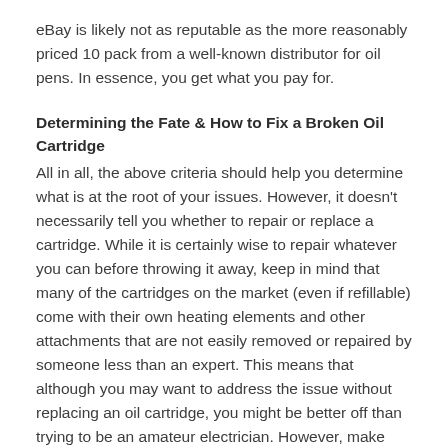eBay is likely not as reputable as the more reasonably priced 10 pack from a well-known distributor for oil pens. In essence, you get what you pay for.
Determining the Fate & How to Fix a Broken Oil Cartridge
All in all, the above criteria should help you determine what is at the root of your issues. However, it doesn't necessarily tell you whether to repair or replace a cartridge. While it is certainly wise to repair whatever you can before throwing it away, keep in mind that many of the cartridges on the market (even if refillable) come with their own heating elements and other attachments that are not easily removed or repaired by someone less than an expert. This means that although you may want to address the issue without replacing an oil cartridge, you might be better off than trying to be an amateur electrician. However, make sure to look up the specific design specs on your particular cartridge. You may be pleasantly